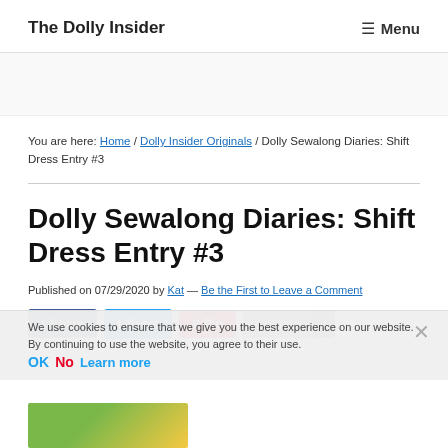The Dolly Insider    ☰ Menu
You are here: Home / Dolly Insider Originals / Dolly Sewalong Diaries: Shift Dress Entry #3
Dolly Sewalong Diaries: Shift Dress Entry #3
Published on 07/29/2020 by Kat — Be the First to Leave a Comment
Share  Tweet  Pin  Share  1
We use cookies to ensure that we give you the best experience on our website. By continuing to use the website, you agree to their use. OK  No  Learn more